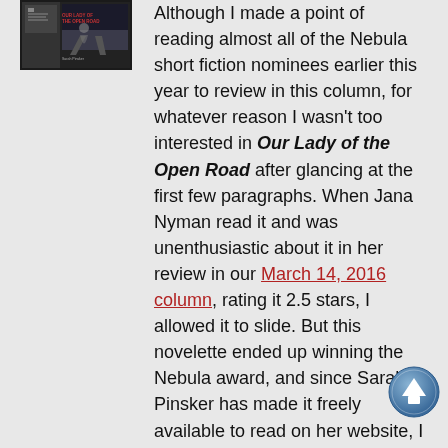[Figure (photo): Book cover image of 'Our Lady of the Open Road' by Sarah Pinsker, dark cover with a vehicle/road scene]
Although I made a point of reading almost all of the Nebula short fiction nominees earlier this year to review in this column, for whatever reason I wasn't too interested in Our Lady of the Open Road after glancing at the first few paragraphs. When Jana Nyman read it and was unenthusiastic about it in her review in our March 14, 2016 column, rating it 2.5 stars, I allowed it to slide. But this novelette ended up winning the Nebula award, and since Sarah Pinsker has made it freely available to read on her website, I thought I would give it another shot. I was glad I did.
Luce is an itinerant musician in a near-future version of our world, where some unexplained event has crushed much of society. Life for live musicians is made even more difficult by the fact that new technology called StageHolo, which allows venues to show highly realistic